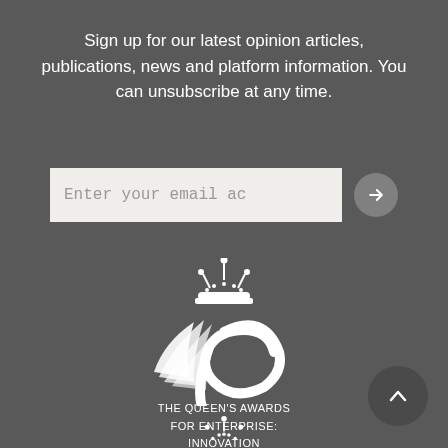Sign up for our latest opinion articles, publications, news and platform information. You can unsubscribe at any time.
[Figure (screenshot): Email input field with placeholder text 'Enter your email ac' and a grey circular arrow button to the right]
[Figure (logo): The Queen's Awards for Enterprise: Innovation 2020 logo — white crown above a stylized white cursive 'e' with wing motif]
THE QUEEN'S AWARDS FOR ENTERPRISE: INNOVATION 2020
[Figure (logo): Partial crown logo at bottom center of page]
[Figure (other): Grey circular scroll-to-top button with upward chevron arrow in bottom right corner]